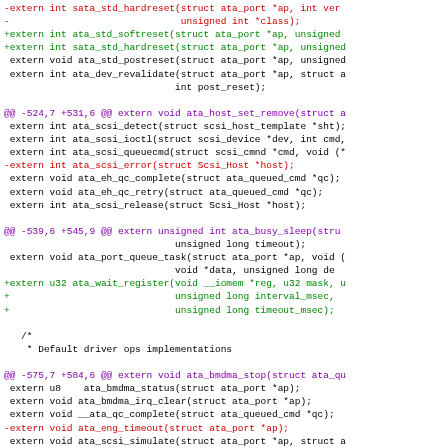-extern int sata_std_hardreset(struct ata_port *ap, int ver
-                              unsigned int *class);
+extern int ata_std_softreset(struct ata_port *ap, unsigned
+extern int sata_std_hardreset(struct ata_port *ap, unsigned
 extern void ata_std_postreset(struct ata_port *ap, unsigned
 extern int ata_dev_revalidate(struct ata_port *ap, struct a
                              int post_reset);

@@ -524,7 +531,6 @@ extern void ata_host_set_remove(struct a
 extern int ata_scsi_detect(struct scsi_host_template *sht);
 extern int ata_scsi_ioctl(struct scsi_device *dev, int cmd,
 extern int ata_scsi_queuecmd(struct scsi_cmnd *cmd, void (*
-extern int ata_scsi_error(struct Scsi_Host *host);
 extern void ata_eh_qc_complete(struct ata_queued_cmd *qc);
 extern void ata_eh_qc_retry(struct ata_queued_cmd *qc);
 extern int ata_scsi_release(struct Scsi_Host *host);

@@ -539,6 +545,9 @@ extern unsigned int ata_busy_sleep(stru
                              unsigned long timeout);
 extern void ata_port_queue_task(struct ata_port *ap, void (
                              void *data, unsigned long de
+extern u32 ata_wait_register(void __iomem *reg, u32 mask, u
+                             unsigned long interval_msec,
+                             unsigned long timeout_msec);

 /*
  * Default driver ops implementations

@@ -575,7 +584,6 @@ extern void ata_bmdma_stop(struct ata_qu
 extern u8    ata_bmdma_status(struct ata_port *ap);
 extern void ata_bmdma_irq_clear(struct ata_port *ap);
 extern void __ata_qc_complete(struct ata_queued_cmd *qc);
-extern void ata_eng_timeout(struct ata_port *ap);
 extern void ata_scsi_simulate(struct ata_port *ap, struct a